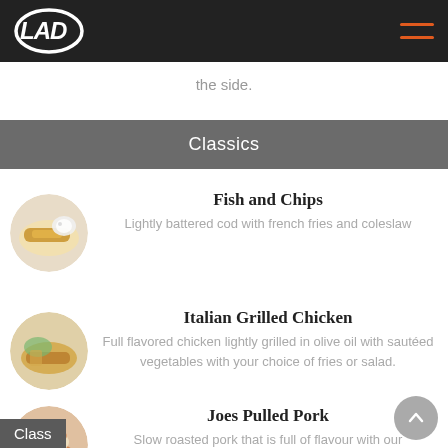LAD [logo] with hamburger menu icon
the side.
Classics
[Figure (photo): Circular photo of fish and chips on a plate]
Fish and Chips
Lightly battered cod with french fries and coleslaw
[Figure (photo): Circular photo of Italian grilled chicken with fries and vegetables]
Italian Grilled Chicken
Full flavored chicken lightly grilled in olive oil with sautéed vegetables with your choice of fries or salad.
[Figure (photo): Circular photo of Joes Pulled Pork sandwich with fries]
Joes Pulled Pork
Slow roasted pork that is full of flavour with our
Class